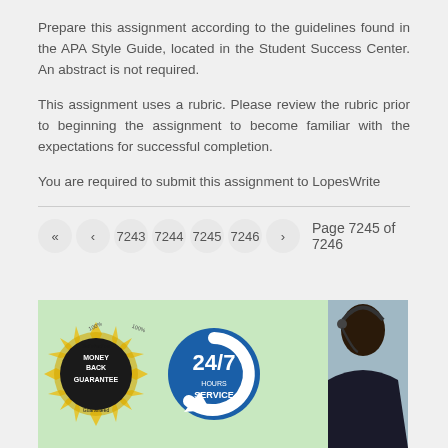Prepare this assignment according to the guidelines found in the APA Style Guide, located in the Student Success Center. An abstract is not required.
This assignment uses a rubric. Please review the rubric prior to beginning the assignment to become familiar with the expectations for successful completion.
You are required to submit this assignment to LopesWrite
Page 7245 of 7246
[Figure (photo): Advertisement banner showing a money back guarantee badge, 24/7 hours service badge, and a woman with headset on green background]